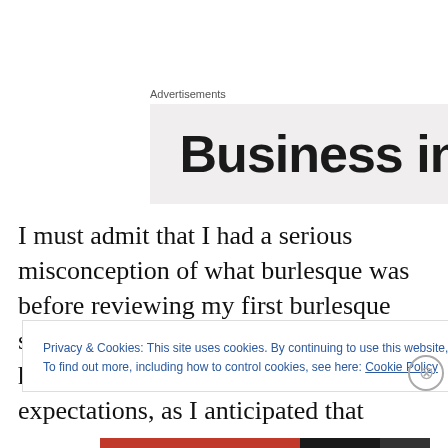Advertisements
[Figure (other): Advertisement block with text 'Business in' on a light gray background]
I must admit that I had a serious misconception of what burlesque was before reviewing my first burlesque show. Growing up in a church going home may have influenced my expectations, as I anticipated that burlesque shows would be seedy, targeting the wretched and depraved of
Privacy & Cookies: This site uses cookies. By continuing to use this website, you agree to their use.
To find out more, including how to control cookies, see here: Cookie Policy
Close and accept